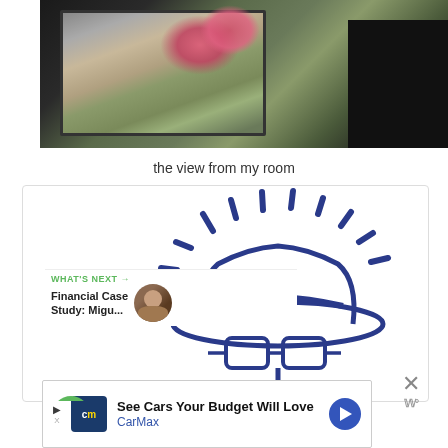[Figure (photo): View through a window with dark frame, showing pink geranium flowers and a stone wall outside]
the view from my room
[Figure (illustration): Drawing of a detective/incognito figure wearing a wide-brimmed hat and glasses, with dashed arc lines above suggesting a halo or aura, rendered in dark blue on white background. Social interaction overlay with heart button showing 27 likes and a share button on the left side.]
WHAT'S NEXT → Financial Case Study: Migu...
See Cars Your Budget Will Love CarMax